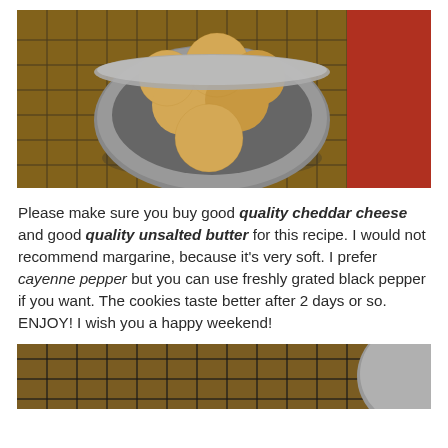[Figure (photo): A round gray bowl filled with golden-brown round cheese cookies/biscuits, sitting on a black wire cooling rack over a wooden surface. A red textured cloth is visible on the right side.]
Please make sure you buy good quality cheddar cheese and good quality unsalted butter for this recipe. I would not recommend margarine, because it's very soft. I prefer cayenne pepper but you can use freshly grated black pepper if you want. The cookies taste better after 2 days or so. ENJOY! I wish you a happy weekend!
[Figure (photo): Partial view of cheese cookies on a black wire cooling rack, with a gray bowl visible at the right edge.]